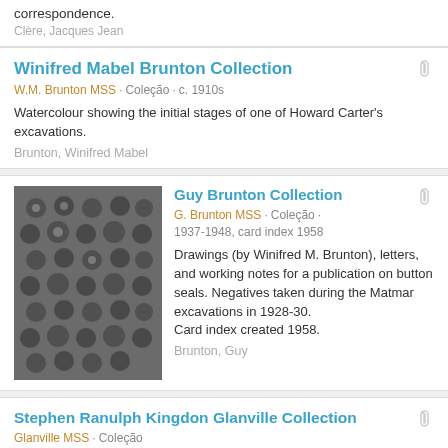correspondence.
Clère, Jacques Jean
Winifred Mabel Brunton Collection
W.M. Brunton MSS · Coleção · c. 1910s
Watercolour showing the initial stages of one of Howard Carter's excavations.
Brunton, Winifred Mabel
Guy Brunton Collection
G. Brunton MSS · Coleção · 1937-1948, card index 1958
Drawings (by Winifred M. Brunton), letters, and working notes for a publication on button seals. Negatives taken during the Matmar excavations in 1928-30. Card index created 1958.
Brunton, Guy
Stephen Ranulph Kingdon Glanville Collection
Glanville MSS · Coleção
Various papers and correspondence connected with the